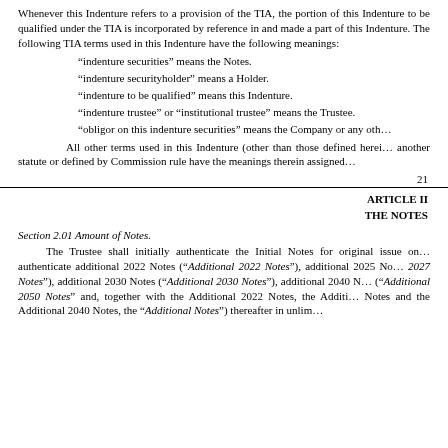Whenever this Indenture refers to a provision of the TIA, the portion of Indenture to be qualified under the TIA is incorporated by reference in and made a part of this Indenture. The following TIA terms used in this Indenture have the following meanings:
“indenture securities” means the Notes.
“indenture securityholder” means a Holder.
“indenture to be qualified” means this Indenture.
“indenture trustee” or “institutional trustee” means the Trustee.
“obligor on this indenture securities” means the Company or any other obligor on the Notes.
All other terms used in this Indenture (other than those defined herein) that are defined by the TIA, defined by TIA reference to another statute or defined by Commission rule have the meanings therein assigned to them.
21
ARTICLE II
THE NOTES
Section 2.01 Amount of Notes.
The Trustee shall initially authenticate the Initial Notes for original issue on the Issue Date. The Trustee may also authenticate additional 2022 Notes (“Additional 2022 Notes”), additional 2025 Notes (“Additional 2025 Notes”), additional 2027 Notes (“Additional 2027 Notes”), additional 2030 Notes (“Additional 2030 Notes”), additional 2040 Notes (“Additional 2040 Notes”), additional 2050 Notes (“Additional 2050 Notes” and, together with the Additional 2022 Notes, the Additional 2025 Notes, the Additional 2027 Notes and the Additional 2040 Notes, the “Additional Notes”) thereafter in unlimited aggregate principal amount.